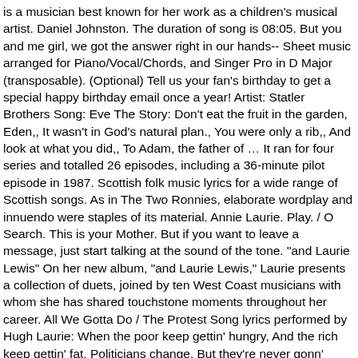is a musician best known for her work as a children's musical artist. Daniel Johnston. The duration of song is 08:05. But you and me girl, we got the answer right in our hands-- Sheet music arranged for Piano/Vocal/Chords, and Singer Pro in D Major (transposable). (Optional) Tell us your fan's birthday to get a special happy birthday email once a year! Artist: Statler Brothers Song: Eve The Story: Don't eat the fruit in the garden, Eden,, It wasn't in God's natural plan., You were only a rib,, And look at what you did,, To Adam, the father of … It ran for four series and totalled 26 episodes, including a 36-minute pilot episode in 1987. Scottish folk music lyrics for a wide range of Scottish songs. As in The Two Ronnies, elaborate wordplay and innuendo were staples of its material. Annie Laurie. Play. / O Search. This is your Mother. But if you want to leave a message, just start talking at the sound of the tone. "and Laurie Lewis" On her new album, "and Laurie Lewis," Laurie presents a collection of duets, joined by ten West Coast musicians with whom she has shared touchstone moments throughout her career. All We Gotta Do / The Protest Song lyrics performed by Hugh Laurie: When the poor keep gettin' hungry, And the rich keep gettin' fat, Politicians change, But they're never gonn' change that, Laurie Hugh – Protest Song Lyrics. Laurie Lewis Brings Berkeley Roots to a Bluegrass Sound All Her